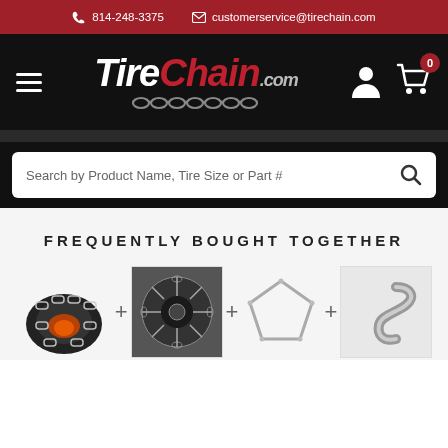📞 814-248-3375  ✉ customerservice@tirechain.com
[Figure (logo): TireChain.com logo with chain links, hamburger menu, user icon, and shopping cart with 0 badge]
[Figure (screenshot): Search bar: Search by Product Name, Tire Size or Part #]
FREQUENTLY BOUGHT TOGETHER
[Figure (photo): Four product images shown with plus signs: tire chain on tractor tire, tire chain close-up on wheel, pentagonal chain link, S-hook fastener]